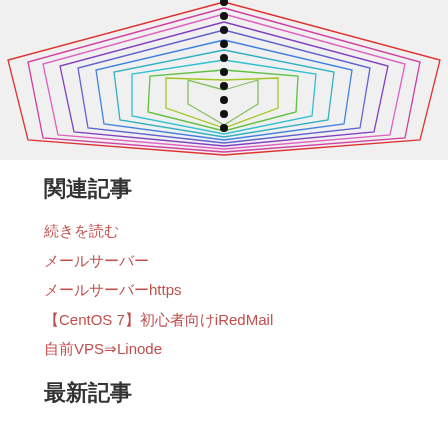[Figure (continuous-plot): Radar/spider chart with multiple colored concentric polygon outlines in various colors (red, magenta, pink, purple, blue, teal, cyan, green, yellow-green) with black dots along the vertical center axis, shown on a light gray background. Only the top portion of the chart is visible.]
関連記事
続きを読む
メールサーバー
メールサーバーhttps
【CentOS 7】初心者向けiRedMail
自前VPS⇒Linode
最新記事